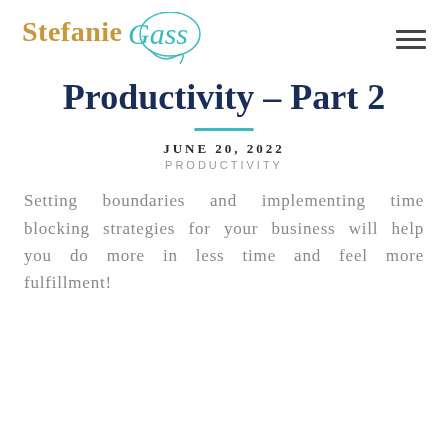[Figure (logo): Stefanie Gass logo with teal cursive script and gold serif text]
Productivity – Part 2
JUNE 20, 2022
PRODUCTIVITY
Setting boundaries and implementing time blocking strategies for your business will help you do more in less time and feel more fulfillment!